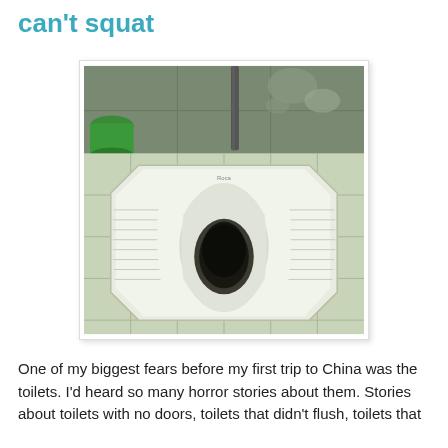can't squat
[Figure (photo): A white squat toilet (floor-level ceramic fixture with ribbed footrests) set into beige square tiles. A green bucket is visible in the top-left corner and the wall behind shows peeling paint and a vertical pipe.]
One of my biggest fears before my first trip to China was the toilets. I'd heard so many horror stories about them. Stories about toilets with no doors, toilets that didn't flush, toilets that